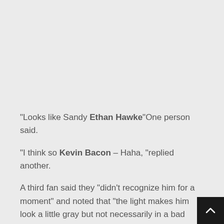“Looks like Sandy Ethan Hawke“One person said.
“I think so Kevin Bacon – Haha, “replied another.
A third fan said they “did’t recognize him for a moment” and noted that “the light makes him look a little gray but not necessarily in a bad way.”
“I am getting it Stephen King Vibes, “said anoth…
“I was thinking Jim Carey lmao, “shared another.